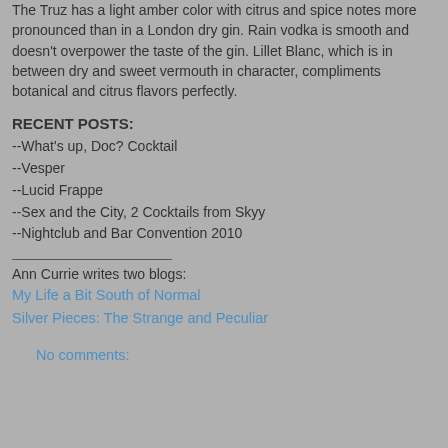The Truz has a light amber color with citrus and spice notes more pronounced than in a London dry gin. Rain vodka is smooth and doesn't overpower the taste of the gin. Lillet Blanc, which is in between dry and sweet vermouth in character, compliments botanical and citrus flavors perfectly.
RECENT POSTS:
--What's up, Doc? Cocktail
--Vesper
--Lucid Frappe
--Sex and the City, 2 Cocktails from Skyy
--Nightclub and Bar Convention 2010
Ann Currie writes two blogs:
My Life a Bit South of Normal
Silver Pieces: The Strange and Peculiar
No comments: